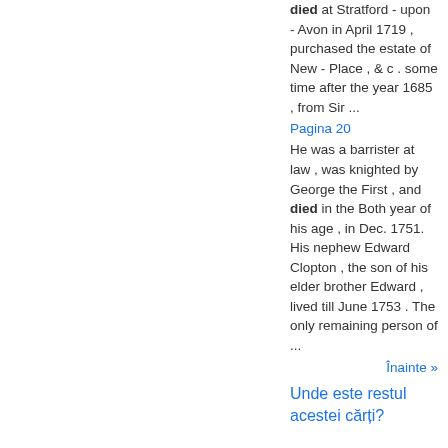died at Stratford - upon - Avon in April 1719 , purchased the estate of New - Place , & c . some time after the year 1685 , from Sir ...
Pagina 20
He was a barrister at law , was knighted by George the First , and died in the Both year of his age , in Dec. 1751. His nephew Edward Clopton , the son of his elder brother Edward , lived till June 1753 . The only remaining person of ...
Înainte »
Unde este restul acestei cărți?